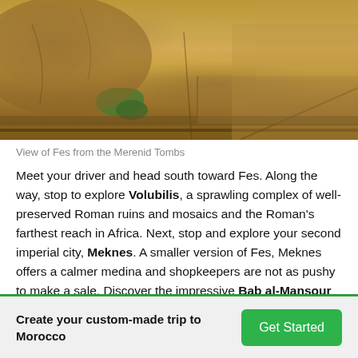[Figure (photo): View of ancient stone ruins and walls in warm golden-brown tones with some greenery, likely the Merenid Tombs area overlooking Fes, Morocco]
View of Fes from the Merenid Tombs
Meet your driver and head south toward Fes. Along the way, stop to explore Volubilis, a sprawling complex of well-preserved Roman ruins and mosaics and the Roman's farthest reach in Africa. Next, stop and explore your second imperial city, Meknes. A smaller version of Fes, Meknes offers a calmer medina and shopkeepers are not as pushy to make a sale. Discover the impressive Bab al-Mansour gate and the Mausoleum of Moulay Ismail in the Ville Impériale (Imperial City). Visit the Madrasa Bou Inania, a
Create your custom-made trip to Morocco
Get Started